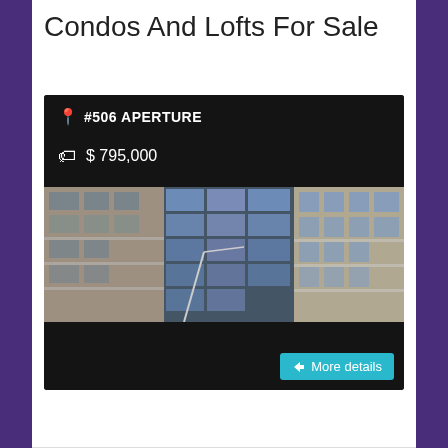Condos And Lofts For Sale
[Figure (photo): Real estate listing card for #506 Aperture condo. Shows a modern glass and concrete high-rise building exterior with balconies. Price listed as $795,000. Features: 2 bedrooms, 2 bathrooms, 1170 sqft. More details button in teal.]